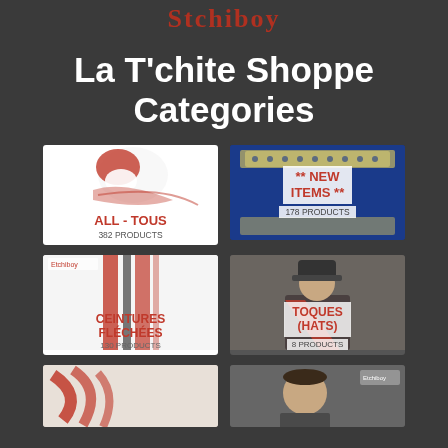Stchiboy
La T'chite Shoppe Categories
[Figure (illustration): ALL-TOUS category card with snowman/bird logo, red and white, text: ALL-TOUS, 382 PRODUCTS]
[Figure (illustration): ** NEW ITEMS ** category card with blue banner background, text: ** NEW ITEMS **, 178 PRODUCTS]
[Figure (illustration): CEINTURES FLÉCHÉES category card with sash/belt pattern, text: CEINTURES FLÉCHÉES, 130 PRODUCTS]
[Figure (photo): TOQUES (HATS) category card with person wearing hat, text: TOQUES (HATS), 8 PRODUCTS]
[Figure (photo): Partial category card bottom left, red ribbon/sash pattern]
[Figure (photo): Partial category card bottom right, person photo]